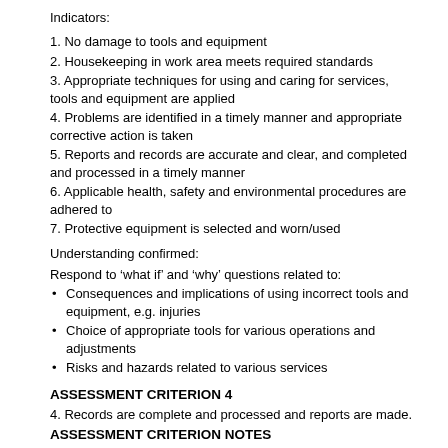Indicators:
1. No damage to tools and equipment
2. Housekeeping in work area meets required standards
3. Appropriate techniques for using and caring for services, tools and equipment are applied
4. Problems are identified in a timely manner and appropriate corrective action is taken
5. Reports and records are accurate and clear, and completed and processed in a timely manner
6. Applicable health, safety and environmental procedures are adhered to
7. Protective equipment is selected and worn/used
Understanding confirmed:
Respond to ‘what if’ and ‘why’ questions related to:
Consequences and implications of using incorrect tools and equipment, e.g. injuries
Choice of appropriate tools for various operations and adjustments
Risks and hazards related to various services
ASSESSMENT CRITERION 4
4. Records are complete and processed and reports are made.
ASSESSMENT CRITERION NOTES
Indicators:
1. No damage to tools and equipment
2. Housekeeping in work area meets required standards
3. Appropriate techniques for using and caring for services, tools and equipment are applied